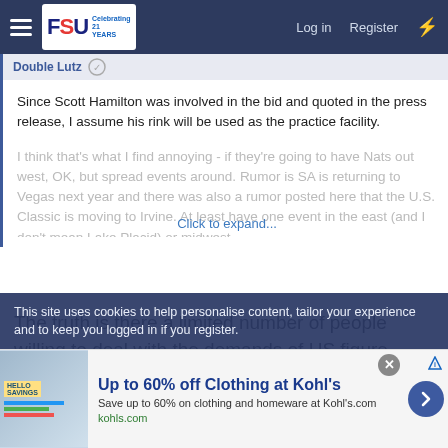FSU — Log in   Register
Since Scott Hamilton was involved in the bid and quoted in the press release, I assume his rink will be used as the practice facility.
I think that's what I find annoying - if they're going to have Nats out west, OK, but spread events around. Rumor is SA is returning to Vegas next year and there was also a rumor posted here that the U.S. Classic is moving to Irvine. At least have one event in the east (and I don't mean Lake Placid) or midwest...
The truth is there a limited number of people willing to deal with the demands of US figure skating. The reason is probably not where you want it is nobody in your preferred location wants to
This site uses cookies to help personalise content, tailor your experience and to keep you logged in if you register.
Up to 60% off Clothing at Kohl's
Save up to 60% on clothing and homeware at Kohl's.com
kohls.com